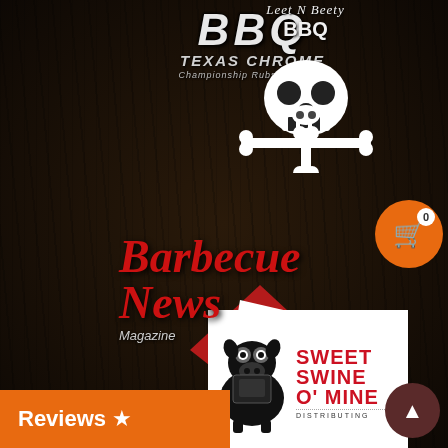[Figure (logo): Texas Chrome BBQ Championship Rubs & Sauces logo with stylized BBQ text in chrome/silver on dark background]
[Figure (logo): Leet N Beety BBQ logo with skull and crossbones pig illustration in white on dark background]
[Figure (logo): Butcher BBQ logo with red cleaver/meat cleaver icon and white bold text on dark background]
[Figure (logo): Sweet Swine O Mine Distributing logo with black pig illustration and red text on white background]
Barbecue News
Magazine
Reviews ★
[Figure (illustration): Orange shopping cart button with 0 badge, top right corner]
[Figure (illustration): Dark red scroll-to-top arrow button, bottom right corner]